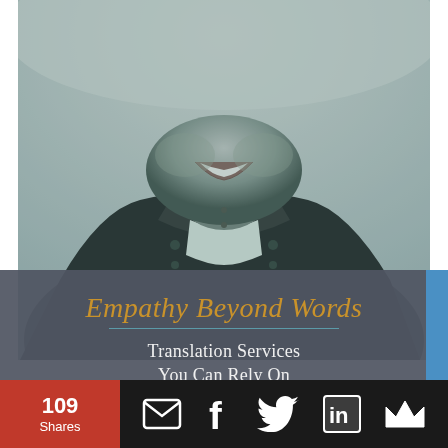[Figure (photo): Black and white photo with teal tint of a smiling person wearing a jacket, cropped from chin to chest, showing smile and upper torso]
Empathy Beyond Words
Translation Services You Can Rely On
109 Shares
[Figure (infographic): Social sharing bar with share count (109 Shares), email icon, Facebook icon, Twitter icon, LinkedIn icon, and crown/newsletter icon on dark background]